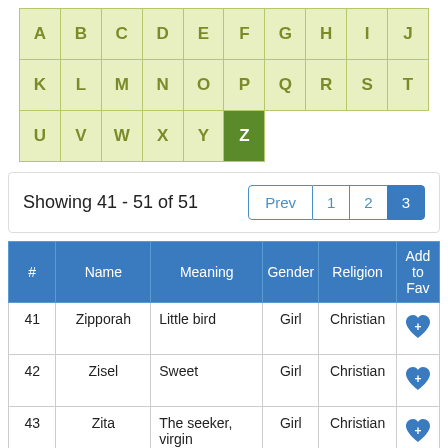[Figure (other): Alphabet navigation grid with letters A-Z in yellow-green cells, Z highlighted in dark green]
Showing 41 - 51 of 51
| # | Name | Meaning | Gender | Religion | Add to Fav |
| --- | --- | --- | --- | --- | --- |
| 41 | Zipporah | Little bird | Girl | Christian | ♥ |
| 42 | Zisel | Sweet | Girl | Christian | ♥ |
| 43 | Zita | The seeker, virgin | Girl | Christian | ♥ |
| 44 | Ziva | Bright, radiant | Girl | Christian | ♥ |
| 45 | Z… | Life… | Girl | Christia… | ♥ |